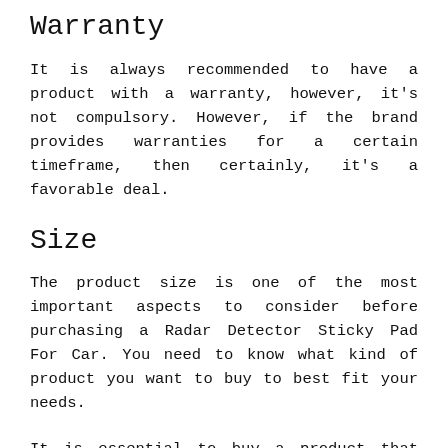Warranty
It is always recommended to have a product with a warranty, however, it's not compulsory. However, if the brand provides warranties for a certain timeframe, then certainly, it's a favorable deal.
Size
The product size is one of the most important aspects to consider before purchasing a Radar Detector Sticky Pad For Car. You need to know what kind of product you want to buy to best fit your needs.
It is essential to buy a product that addresses your needs based on your product dimensions, accordingly...